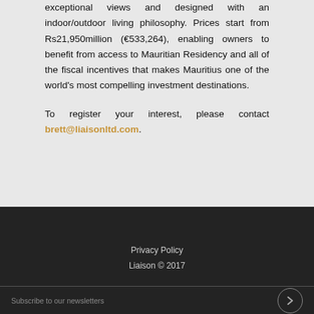exceptional views and designed with an indoor/outdoor living philosophy. Prices start from Rs21,950million (€533,264), enabling owners to benefit from access to Mauritian Residency and all of the fiscal incentives that makes Mauritius one of the world's most compelling investment destinations.
To register your interest, please contact brett@liaisonltd.com.
Privacy Policy
Liaison © 2017
Subscribe to our newsletters